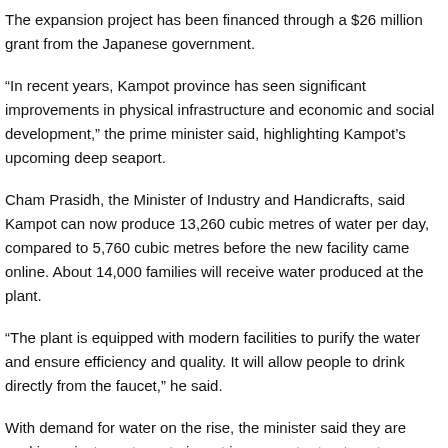The expansion project has been financed through a $26 million grant from the Japanese government.
“In recent years, Kampot province has seen significant improvements in physical infrastructure and economic and social development,” the prime minister said, highlighting Kampot’s upcoming deep seaport.
Cham Prasidh, the Minister of Industry and Handicrafts, said Kampot can now produce 13,260 cubic metres of water per day, compared to 5,760 cubic metres before the new facility came online. About 14,000 families will receive water produced at the plant.
“The plant is equipped with modern facilities to purify the water and ensure efficiency and quality. It will allow people to drink directly from the faucet,” he said.
With demand for water on the rise, the minister said they are seeking private partners to invest in new water treatment facilities to supply Kampot and Kep.